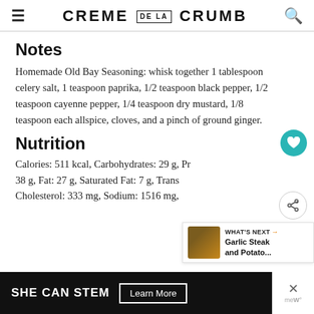CREME DE LA CRUMB
Notes
Homemade Old Bay Seasoning: whisk together 1 tablespoon celery salt, 1 teaspoon paprika, 1/2 teaspoon black pepper, 1/2 teaspoon cayenne pepper, 1/4 teaspoon dry mustard, 1/8 teaspoon each allspice, cloves, and a pinch of ground ginger.
Nutrition
Calories: 511 kcal, Carbohydrates: 29 g, Protein: 38 g, Fat: 27 g, Saturated Fat: 7 g, Trans Fat: Cholesterol: 333 mg, Sodium: 1516 mg,
[Figure (screenshot): WHAT'S NEXT banner with Garlic Steak and Potato... thumbnail]
[Figure (infographic): SHE CAN STEM advertisement banner with Learn More button]